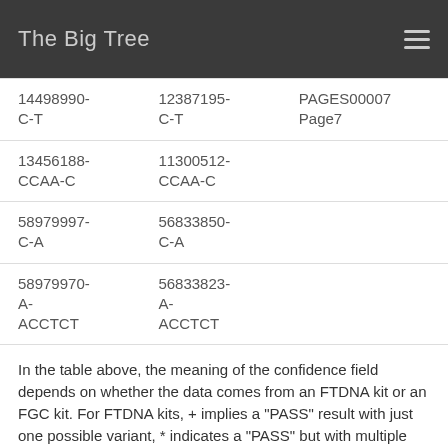The Big Tree
| 14498990-C-T | 12387195-C-T | PAGES00007 Page7 |
| 13456188-CCAA-C | 11300512-CCAA-C |  |
| 58979997-C-A | 56833850-C-A |  |
| 58979970-A-ACCTCT | 56833823-A-ACCTCT |  |
In the table above, the meaning of the confidence field depends on whether the data comes from an FTDNA kit or an FGC kit. For FTDNA kits, + implies a "PASS" result with just one possible variant, * indicates a "PASS" but with multiple variants, ** indicates "REJECTED" with just a single variant, and *** indicates "REJECTED" with multiple possible variants. 'A*' are heterozygous variants not called by FTDNA, but still pulled from the VCF file. For